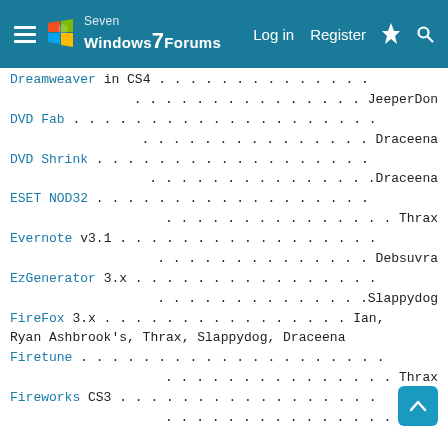Windows 7 Forums — Log in  Register
Dreamweaver in CS4 . . . . . . . . . . . . . . . . . . . . . . . . . JeeperDon
DVD Fab . . . . . . . . . . . . . . . . . . . . . . . . . . . . . . . Draceena
DVD Shrink . . . . . . . . . . . . . . . . . . . . . . . . . . . . .Draceena
ESET NOD32 . . . . . . . . . . . . . . . . . . . . . . . . . . . . . Thrax
Evernote v3.1 . . . . . . . . . . . . . . . . . . . . . . . . . . . Debsuvra
EzGenerator 3.x . . . . . . . . . . . . . . . . . . . . . . . . .Slappydog
FireFox 3.x . . . . . . . . . . . . . . . Ian, Ryan Ashbrook's, Thrax, Slappydog, Draceena
Firetune . . . . . . . . . . . . . . . . . . . . . . . . . . . . . . Thrax
Fireworks CS3 . . . . . . . . . . . . . . . . . . . . . . . . . . . Ian